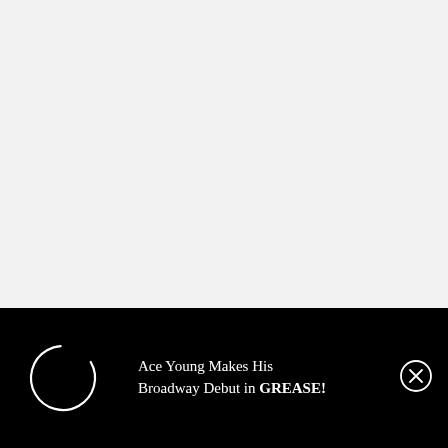[Figure (screenshot): A webpage screenshot showing a mostly blank light grey upper area, a dotted horizontal divider, and a black banner notification bar at the bottom. The banner contains a loading circle icon on the left, the text 'Ace Young Makes His Broadway Debut in GREASE!' in the center, and a circled X close button on the right.]